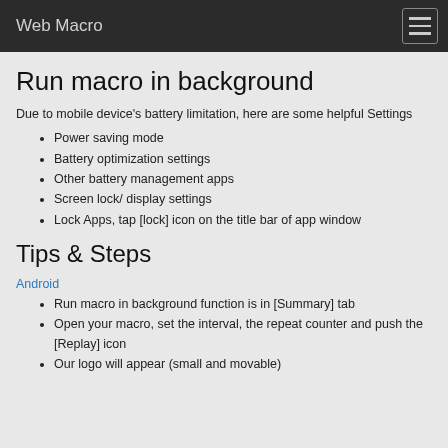Web Macro
Run macro in background
Due to mobile device's battery limitation, here are some helpful Settings
Power saving mode
Battery optimization settings
Other battery management apps
Screen lock/ display settings
Lock Apps, tap [lock] icon on the title bar of app window
Tips & Steps
Android
Run macro in background function is in [Summary] tab
Open your macro, set the interval, the repeat counter and push the [Replay] icon
Our logo will appear (small and movable)